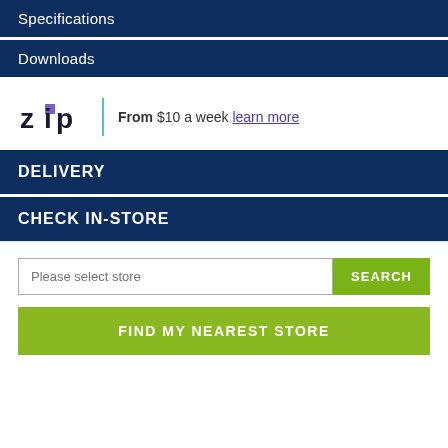Specifications
Downloads
[Figure (logo): Zip logo with 'From $10 a week learn more' text]
DELIVERY
CHECK IN-STORE
Please select store
SEARCH
FIND MY NEAREST STORE